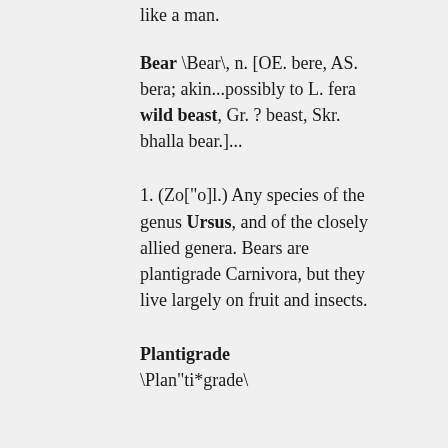like a man.
Bear \Bear\, n. [OE. bere, AS. bera; akin...possibly to L. fera wild beast, Gr. ? beast, Skr. bhalla bear.]...
1. (Zo["o]l.) Any species of the genus Ursus, and of the closely allied genera. Bears are plantigrade Carnivora, but they live largely on fruit and insects.
Plantigrade \Plan"ti*grade\